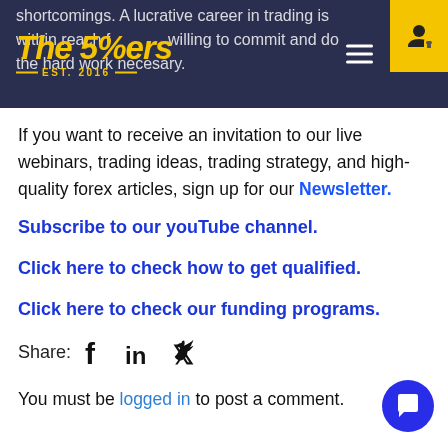The 5%ers — EST. 2016
shortcomings. A lucrative career in trading is within reach for those willing to commit and do the hard work necessary.
If you want to receive an invitation to our live webinars, trading ideas, trading strategy, and high-quality forex articles, sign up for our Newsletter.
Subscribe to our youTube channel.
Click here to check how to get qualified.
Click here to check our funding programs.
Share: [Facebook] [LinkedIn] [Twitter]
You must be logged in to post a comment.